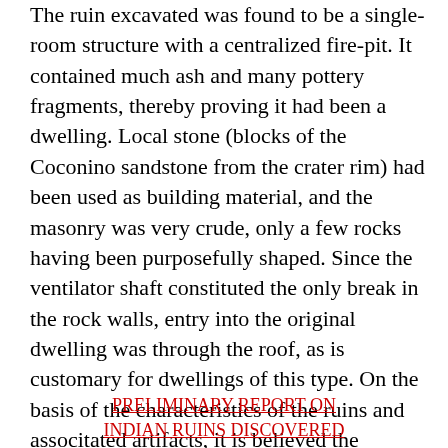The ruin excavated was found to be a single-room structure with a centralized fire-pit. It contained much ash and many pottery fragments, thereby proving it had been a dwelling. Local stone (blocks of the Coconino sandstone from the crater rim) had been used as building material, and the masonry was very crude, only a few rocks having been purposefully shaped. Since the ventilator shaft constituted the only break in the rock walls, entry into the original dwelling was through the roof, as is customary for dwellings of this type. On the basis of the characteristics of the ruins and associtated artifacts, it is believed the dwelling was built prior to A.D. 1300."
PRELIMINARY REPORT ON INDIAN RUINS DISCOVERED